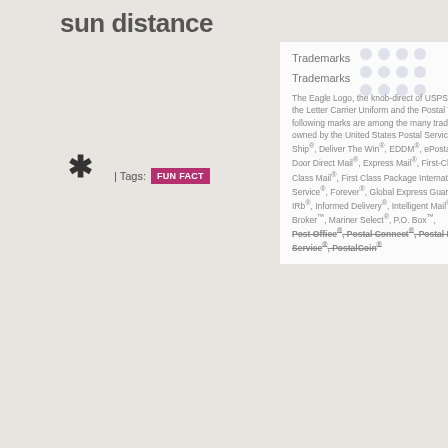sun distance
[Figure (other): 3x3 grid of dark blue dots icon]
Trademarks
Trademarks
The Eagle Logo, the knob-direct of USPS packaging, the Letter Carrier Uniform and the Postal Truck and the following marks are among the many trademarks owned by the United States Postal Service: Click-N-Ship®, Deliver The Win®, EDDM®, ePostage™, Every Door Direct Mail®, Express Mail®, First-Class™, First-Class Mail®, First Class Package International Service®, Forever®, Global Express Guaranteed®, IRb®, Informed Delivery®, Intelligent Mail®, Label Broker™, Mariner Select®, P.O. Box™, Post Office®, Postal Connect®, Postal Interactive Service®, PostalCoin®
| Tags:
FUN FACT